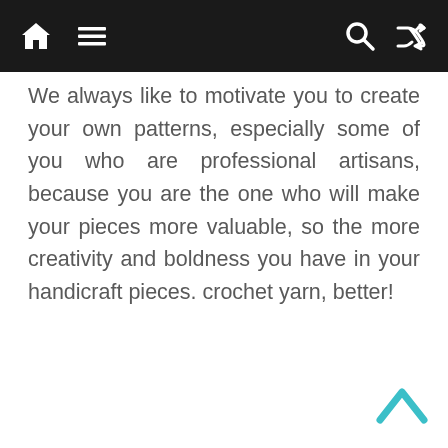[Navigation bar with home icon, menu icon, search icon, shuffle icon]
We always like to motivate you to create your own patterns, especially some of you who are professional artisans, because you are the one who will make your pieces more valuable, so the more creativity and boldness you have in your handicraft pieces. crochet yarn, better!